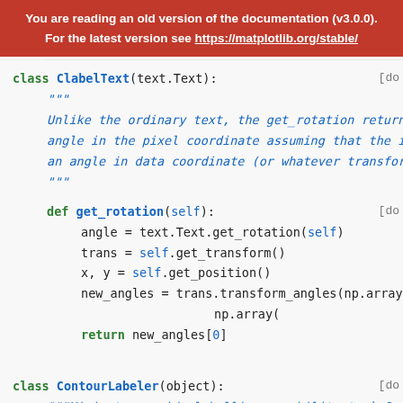You are reading an old version of the documentation (v3.0.0). For the latest version see https://matplotlib.org/stable/
class ClabelText(text.Text): [do
    """
    Unlike the ordinary text, the get_rotation returns
    angle in the pixel coordinate assuming that the i
    an angle in data coordinate (or whatever transform
    """

    def get_rotation(self): [do
        angle = text.Text.get_rotation(self)
        trans = self.get_transform()
        x, y = self.get_position()
        new_angles = trans.transform_angles(np.array(
                                                np.array(
        return new_angles[0]
class ContourLabeler(object): [do
    """Mixin to provide labelling capability to `.Con

    def clabel(self, *args, [do
                fontsize=None, inline=True, inline